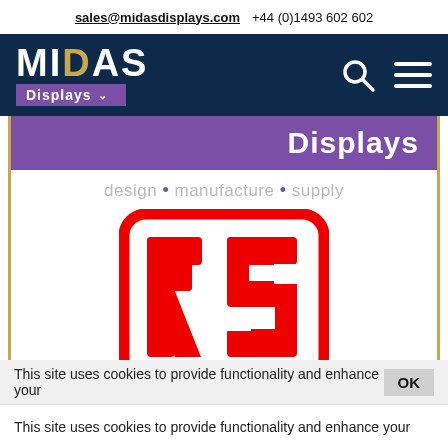sales@midasdisplays.com  +44 (0)1493 602 602
[Figure (logo): Midas Displays logo with navy background, white MIDAS lettering with gold 'D', purple 'Displays' sub-label with chevron. Search icon and hamburger menu icon on right.]
Displays
design • manufacture • supply
[Figure (logo): RS Components logo: red rounded rectangle border with large red block letters RS on white background]
This site uses cookies to provide functionality and enhance your
This site uses cookies to provide functionality and enhance your